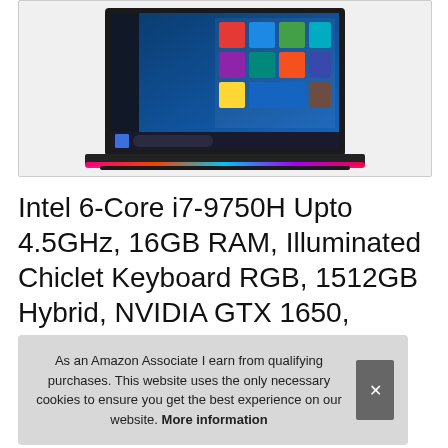[Figure (photo): ASUS ROG Strix gaming laptop open showing Windows 10 screen with colorful RGB lighting along the base, displayed on a white/light grey background inside a bordered container]
Intel 6-Core i7-9750H Upto 4.5GHz, 16GB RAM, Illuminated Chiclet Keyboard RGB, 1512GB Hybrid, NVIDIA GTX 1650, ASUS ROG Strix G 15.6" FHD 12... Wi...
As an Amazon Associate I earn from qualifying purchases. This website uses the only necessary cookies to ensure you get the best experience on our website. More information